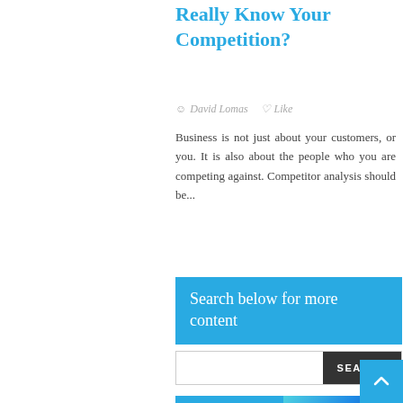Really Know Your Competition?
David Lomas  ♡ Like
Business is not just about your customers, or you. It is also about the people who you are competing against. Competitor analysis should be...
Search below for more content
[Figure (screenshot): Search input box with a dark SEARCH button on the right]
[Figure (illustration): Banner showing 'What's your line of business?' with social media / technology icons on a blue background]